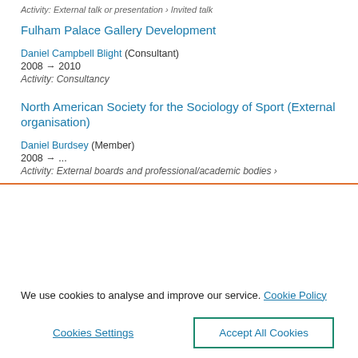Activity: External talk or presentation › Invited talk
Fulham Palace Gallery Development
Daniel Campbell Blight (Consultant)
2008 → 2010
Activity: Consultancy
North American Society for the Sociology of Sport (External organisation)
Daniel Burdsey (Member)
2008 → ...
Activity: External boards and professional/academic bodies ›
We use cookies to analyse and improve our service. Cookie Policy
Cookies Settings
Accept All Cookies